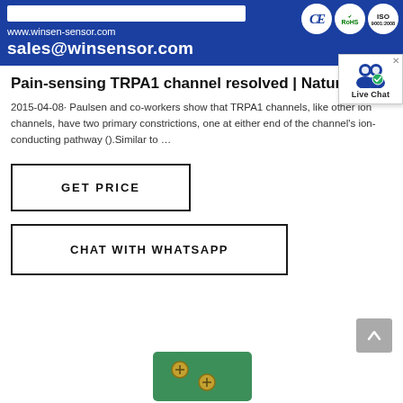www.winsen-sensor.com
sales@winsensor.com
Pain-sensing TRPA1 channel resolved | Nature...
2015-04-08· Paulsen and co-workers show that TRPA1 channels, like other ion channels, have two primary constrictions, one at either end of the channel's ion-conducting pathway ().Similar to ...
GET PRICE
CHAT WITH WHATSAPP
[Figure (photo): Green circuit board / sensor module partially visible at bottom of page]
[Figure (other): Live Chat widget showing two user icons with a checkmark, labeled 'Live Chat']